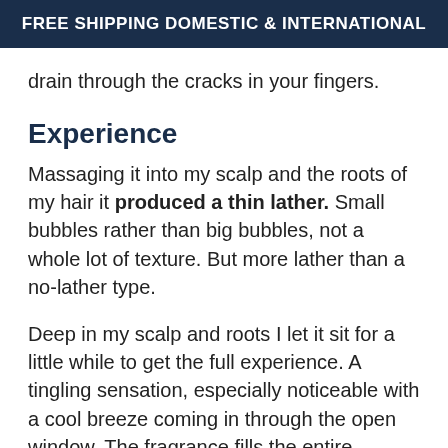FREE SHIPPING DOMESTIC & INTERNATIONAL
drain through the cracks in your fingers.
Experience
Massaging it into my scalp and the roots of my hair it produced a thin lather. Small bubbles rather than big bubbles, not a whole lot of texture. But more lather than a no-lather type.
Deep in my scalp and roots I let it sit for a little while to get the full experience. A tingling sensation, especially noticeable with a cool breeze coming in through the open window. The fragrance fills the entire shower, you can even feel it as you breathe in, like Vicks vapor rub